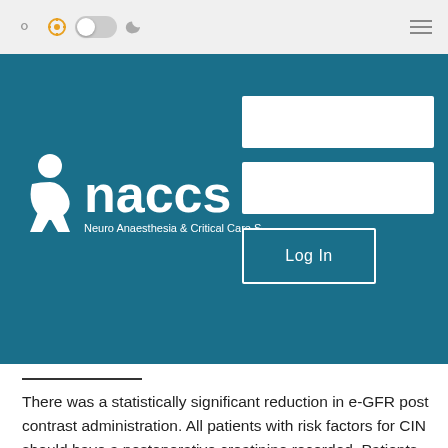[Figure (screenshot): NACCS website top navigation bar with search icon, gear icon, light/dark toggle, and hamburger menu]
[Figure (logo): NACCS - Neuro Anaesthesia & Critical Care Society logo in white on teal background, with login form fields and Log In button]
There was a statistically significant reduction in e-GFR post contrast administration. All patients with risk factors for CIN should have a postoperative creatinine recorded. Patients presenting for interventional radiological procedures with